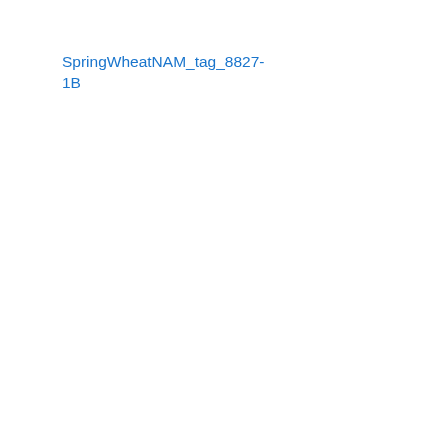SpringWheatNAM_tag_8827-1B
locus
0
Wheat 2018-NAMs-BxPBW343_1B
Wheat ABD - Wheat-NAM27-Berkut-x-PI192569 - Wheat-2018-NAM27-BxPI192569_
Wheat ABD - Wheat-NAM19-Berkut-x-PI43 - Wheat-2018-NAM19-BxPI43355_1B
Wheat ABD - Wheat-NAM4-Berkut-x-PI366 - Wheat-2018-NAM4-BxPI366716_1B
Wheat ABD - Wheat-NAM1-Berkut-x-DharwarDry - Wheat-2018-NAM1-BxDharwarDry_1B
Wheat ABD - Wheat-NAM28-Berkut-x-PI210945 - Wheat-2018-NAM28-BxPI210945_
Wheat ABD - Wheat-NAM24-Berkut-x-PI192147 - Wheat-2018-NAM24-BxPI192147_